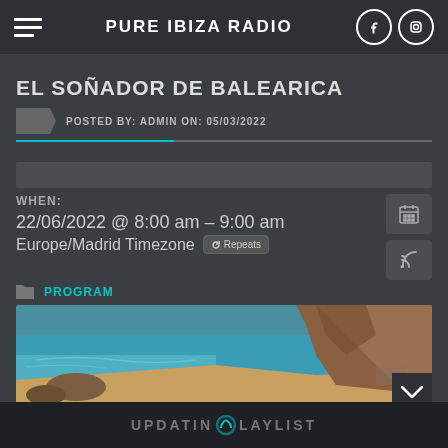PURE IBIZA RADIO
EL SOÑADOR DE BALEARICA
POSTED BY: ADMIN ON: 05/03/2022
WHEN: 22/06/2022 @ 8:00 am – 9:00 am Europe/Madrid Timezone Repeats
PROGRAM
[Figure (photo): Coastal beach scene with turquoise water, sandy beach, and rocky cliffs in Ibiza/Balearic Islands]
UPDATING PLAYLIST